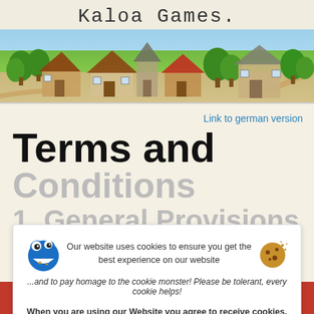KALOA GAMES.
[Figure (illustration): Stylized isometric village game scene with houses, trees, roads on green and sandy terrain with blue sky]
Link to german version
Terms and Conditions
1. General Provisions
1.1 Kaloa Games (Haftungsbeschränkt)
Our website uses cookies to ensure you get the best experience on our website
...and to pay homage to the cookie monster! Please be tolerant, every cookie helps!
When you are using our Website you agree to receive cookies. Learn more
Vision   About   Games